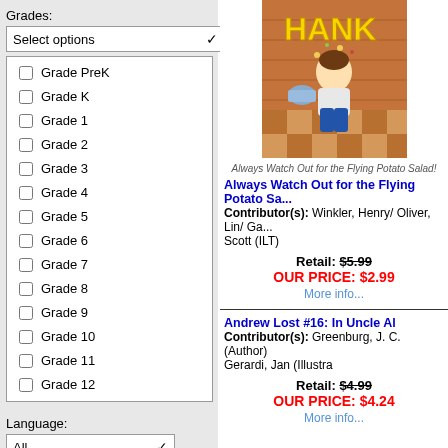Grades:
Select options
Grade PreK
Grade K
Grade 1
Grade 2
Grade 3
Grade 4
Grade 5
Grade 6
Grade 7
Grade 8
Grade 9
Grade 10
Grade 11
Grade 12
Language:
All
Search
[Figure (illustration): Book cover for 'Always Watch Out for the Flying Potato Salad' - cartoon illustration of a boy with a bucket of potato salad]
Always Watch Out for the Flying Potato Salad!
Always Watch Out for the Flying Potato Sa...
Contributor(s): Winkler, Henry/ Oliver, Lin/ Ga... Scott (ILT)
Retail: $5.99 OUR PRICE: $2.99 More info...
Andrew Lost #16: In Uncle Al
Contributor(s): Greenburg, J. C. (Author) Gerardi, Jan (Illustra
Retail: $4.99 OUR PRICE: $4.24 More info...